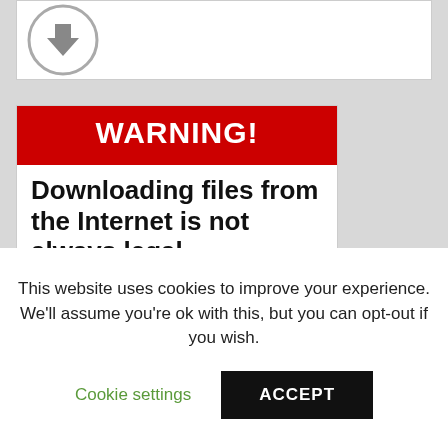[Figure (other): Partial view of a circular arrow/download icon at the top of the page]
[Figure (screenshot): Warning sign image with red header 'WARNING!' and text 'Downloading files from the Internet is not always legal. Your safety is Your responsibility.']
This website uses cookies to improve your experience. We'll assume you're ok with this, but you can opt-out if you wish.
Cookie settings
ACCEPT